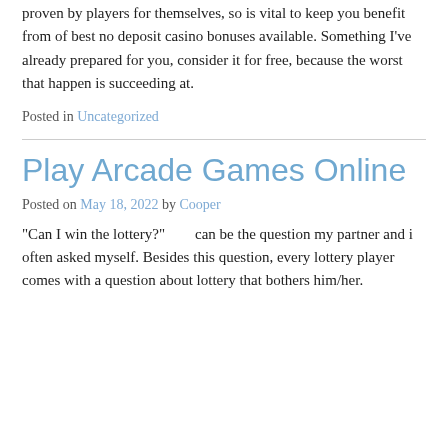proven by players for themselves, so is vital to keep you benefit from of best no deposit casino bonuses available. Something I’ve already prepared for you, consider it for free, because the worst that happen is succeeding at.
Posted in Uncategorized
Play Arcade Games Online
Posted on May 18, 2022 by Cooper
“Can I win the lottery?”        can be the question my partner and i often asked myself. Besides this question, every lottery player comes with a question about lottery that bothers him/her.